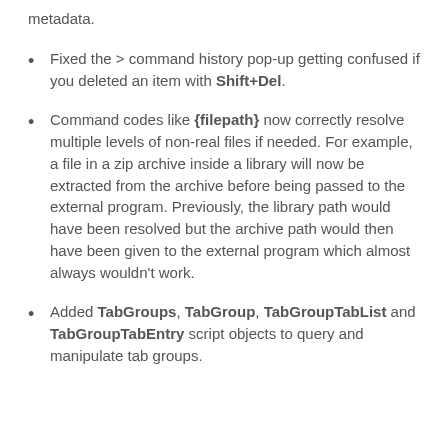metadata.
Fixed the > command history pop-up getting confused if you deleted an item with Shift+Del.
Command codes like {filepath} now correctly resolve multiple levels of non-real files if needed. For example, a file in a zip archive inside a library will now be extracted from the archive before being passed to the external program. Previously, the library path would have been resolved but the archive path would then have been given to the external program which almost always wouldn't work.
Added TabGroups, TabGroup, TabGroupTabList and TabGroupTabEntry script objects to query and manipulate tab groups.